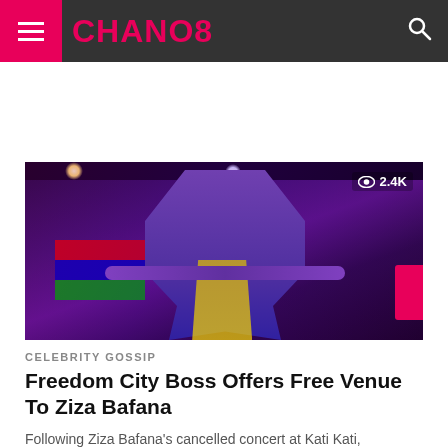CHANO8
[Figure (photo): A performer on stage with colorful stage lights, a flag with red, blue, and green stripes in the background, wearing sunglasses and a dark t-shirt, with a yellow garment visible. View count overlay showing 2.4K.]
CELEBRITY GOSSIP
Freedom City Boss Offers Free Venue To Ziza Bafana
Following Ziza Bafana's cancelled concert at Kati Kati, businessman and Freedom city owner John Ssebalamu offered the artiste a free venue to...